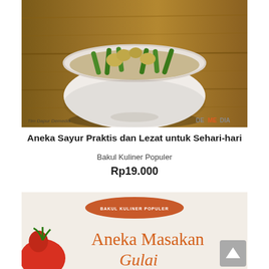[Figure (photo): Book cover photo showing a white bowl with vegetables (green beans, cauliflower) on a wooden surface. Publisher logos visible: Tim Dapur Demedia and DEMEDIA.]
Aneka Sayur Praktis dan Lezat untuk Sehari-hari
Bakul Kuliner Populer
Rp19.000
[Figure (photo): Partial book cover showing 'BAKUL KULINER POPULER' badge and title 'Aneka Masakan Gulai' in orange on light background with tomato image on left. Scroll-to-top button visible on right.]